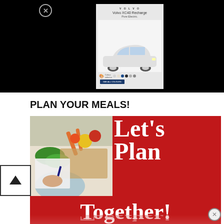[Figure (screenshot): Black background with a Volvo XC40 Recharge advertisement popup. Ad shows 'VOLVO', 'Volvo XC40 Recharge', 'Pure Electric.', color selector dots, CTA button, and a white SUV car image.]
PLAN YOUR MEALS!
[Figure (photo): Red banner image with text 'Let's Plan Together!' and a photo of a person with vegetables and food on a table. The bottom shows a faded reflection of 'Together!' text.]